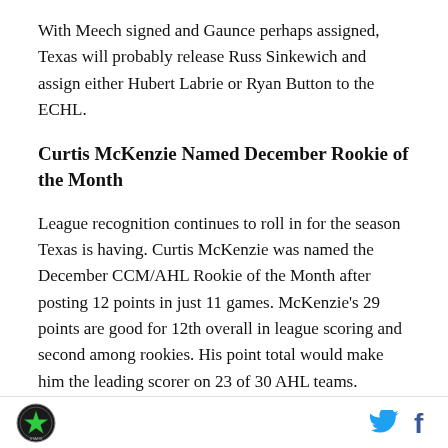With Meech signed and Gaunce perhaps assigned, Texas will probably release Russ Sinkewich and assign either Hubert Labrie or Ryan Button to the ECHL.
Curtis McKenzie Named December Rookie of the Month
League recognition continues to roll in for the season Texas is having. Curtis McKenzie was named the December CCM/AHL Rookie of the Month after posting 12 points in just 11 games. McKenzie's 29 points are good for 12th overall in league scoring and second among rookies. His point total would make him the leading scorer on 23 of 30 AHL teams. Obviously his linemates have helped (Morin and Sceviour) but he
Texas Stars logo, Twitter icon, Facebook icon